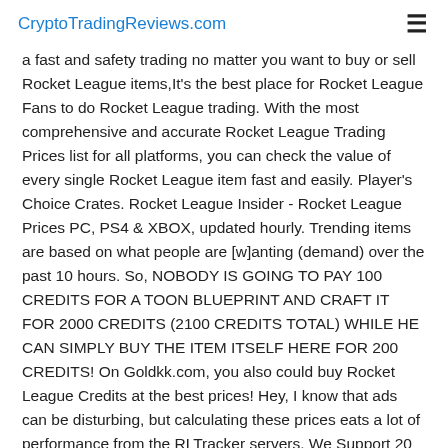CryptoTradingReviews.com
a fast and safety trading no matter you want to buy or sell Rocket League items,It's the best place for Rocket League Fans to do Rocket League trading. With the most comprehensive and accurate Rocket League Trading Prices list for all platforms, you can check the value of every single Rocket League item fast and easily. Player's Choice Crates. Rocket League Insider - Rocket League Prices PC, PS4 & XBOX, updated hourly. Trending items are based on what people are [w]anting (demand) over the past 10 hours. So, NOBODY IS GOING TO PAY 100 CREDITS FOR A TOON BLUEPRINT AND CRAFT IT FOR 2000 CREDITS (2100 CREDITS TOTAL) WHILE HE CAN SIMPLY BUY THE ITEM ITSELF HERE FOR 200 CREDITS! On Goldkk.com, you also could buy Rocket League Credits at the best prices! Hey, I know that ads can be disturbing, but calculating these prices eats a lot of performance from the RLTracker servers. We Support 20 Multiple Global Currencies, 100 Kinds Of Payment